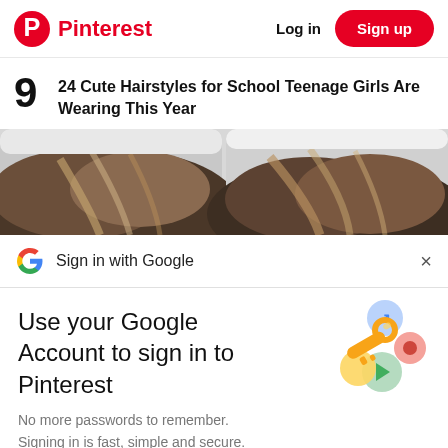Pinterest  Log in  Sign up
9  24 Cute Hairstyles for School Teenage Girls Are Wearing This Year
[Figure (photo): Two-panel split photo showing close-up views of a teenage girl's hair with highlights, top of head visible]
Sign in with Google
Use your Google Account to sign in to Pinterest
[Figure (illustration): Google account illustration showing a golden key with colorful circular icons around it (blue, yellow, green, red)]
No more passwords to remember.
Signing in is fast, simple and secure.
Continue